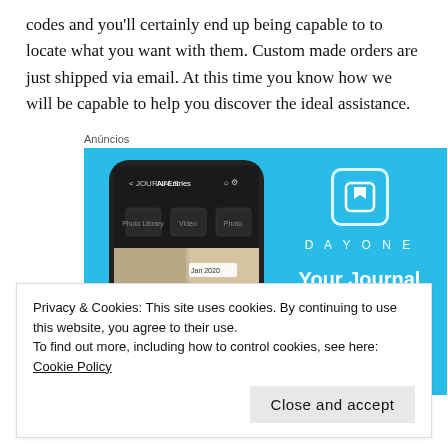codes and you'll certainly end up being capable to to locate what you want with them. Custom made orders are just shipped via email. At this time you know how we will be capable to help you discover the ideal assistance.
Anúncios
[Figure (screenshot): Advertisement for DayOne journaling app. Blue background with a smartphone mockup showing the DayOne app interface with photo entries dated Jan 2020. On the right side: DayOne logo icon, 'DAY ONE' text in spaced letters, and tagline 'Your Journal for life' in white bold text.]
Privacy & Cookies: This site uses cookies. By continuing to use this website, you agree to their use.
To find out more, including how to control cookies, see here: Cookie Policy
Close and accept